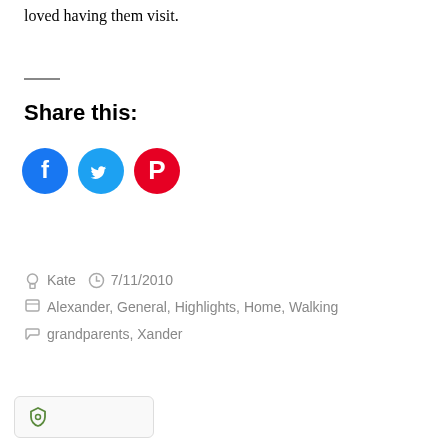loved having them visit.
Share this:
[Figure (infographic): Three social sharing buttons: Facebook (blue circle with f icon), Twitter (light blue circle with bird icon), Pinterest (red circle with P icon)]
Kate   7/11/2010
Alexander, General, Highlights, Home, Walking
grandparents, Xander